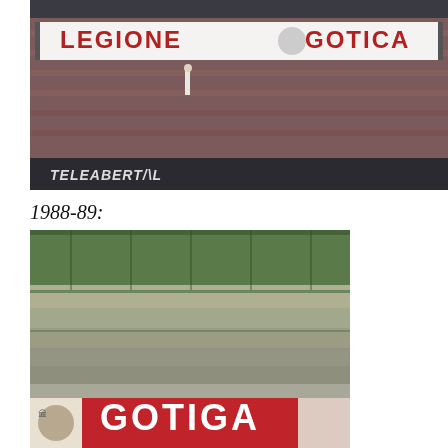[Figure (photo): A stadium stand with a banner reading 'LEGIONE GOTICA' and 'TELEABERTAL' at the bottom. A person is visible standing near the fence.]
1988-89:
[Figure (photo): A crowded stadium terrace filled with fans, with a red advertising board at the bottom reading 'GOTIGA'.]